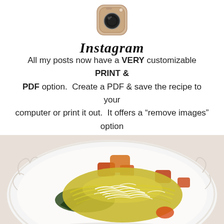[Figure (logo): Instagram camera icon logo]
Instagram
All my posts now have a VERY customizable PRINT & PDF option.  Create a PDF & save the recipe to your computer or print it out.  It offers a “remove images” option & you can delete any part of the post you do not need before printing.  The button is below by the Twitter & Facebook links.
[Figure (photo): A plate of spaghetti squash dish with colorful vegetables on a white decorative plate]